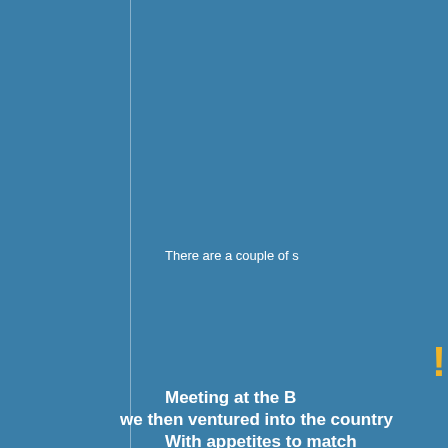There are a couple of s
!
Meeting at the B we then ventured into the country With appetites to match